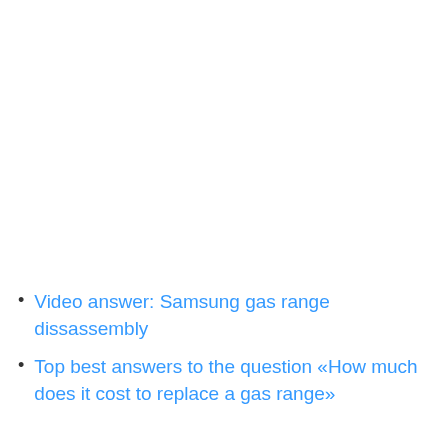Video answer: Samsung gas range dissassembly
Top best answers to the question «How much does it cost to replace a gas range»